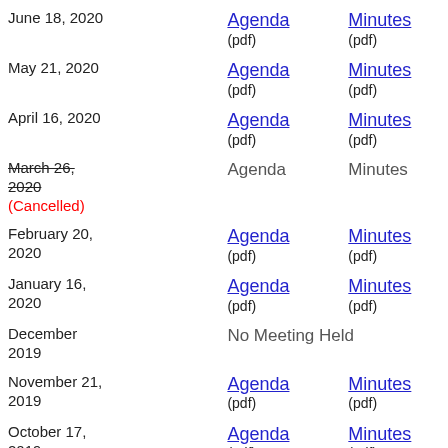| Date | Agenda | Minutes |
| --- | --- | --- |
| June 18, 2020 | Agenda (pdf) | Minutes (pdf) |
| May 21, 2020 | Agenda (pdf) | Minutes (pdf) |
| April 16, 2020 | Agenda (pdf) | Minutes (pdf) |
| March 26, 2020 (Cancelled) | Agenda | Minutes |
| February 20, 2020 | Agenda (pdf) | Minutes (pdf) |
| January 16, 2020 | Agenda (pdf) | Minutes (pdf) |
| December 2019 | No Meeting Held |  |
| November 21, 2019 | Agenda (pdf) | Minutes (pdf) |
| October 17, 2019 | Agenda (pdf) | Minutes (pdf) |
| September 19, 2019 | Agenda (pdf) | Minutes (pdf) |
| August 2019 | No Meeting Held |  |